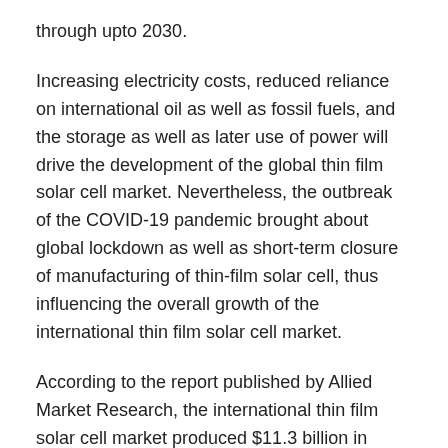through upto 2030.
Increasing electricity costs, reduced reliance on international oil as well as fossil fuels, and the storage as well as later use of power will drive the development of the global thin film solar cell market. Nevertheless, the outbreak of the COVID-19 pandemic brought about global lockdown as well as short-term closure of manufacturing of thin-film solar cell, thus influencing the overall growth of the international thin film solar cell market.
According to the report published by Allied Market Research, the international thin film solar cell market produced $11.3 billion in 2020, and also is predicted to reach $25.3 billion by 2030, experiencing a CAGR of 8.4% from 2021 to 2030. The report offers a comprehensive analysis of transforming market characteristics, top